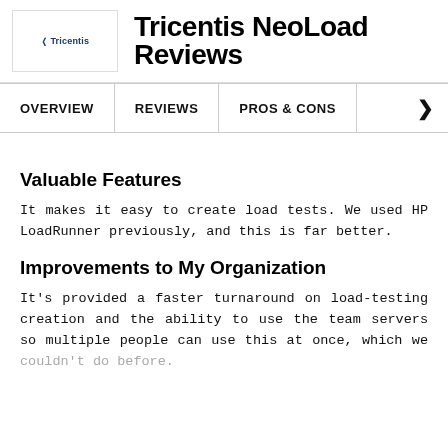Tricentis NeoLoad Reviews
Valuable Features
It makes it easy to create load tests. We used HP LoadRunner previously, and this is far better.
Improvements to My Organization
It's provided a faster turnaround on load-testing creation and the ability to use the team servers so multiple people can use this at once, which we couldn't do before.